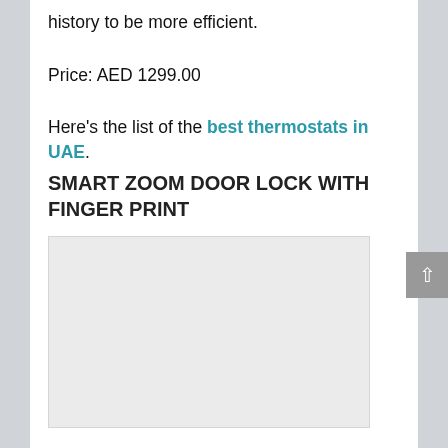history to be more efficient.
Price: AED 1299.00
Here's the list of the best thermostats in UAE.
SMART ZOOM DOOR LOCK WITH FINGER PRINT
[Figure (photo): Image placeholder for Smart Zoom Door Lock with Finger Print product photo]